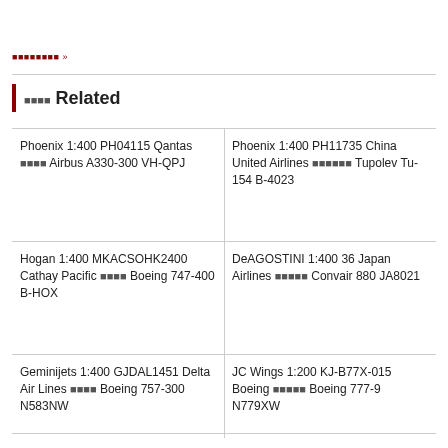■■■■■■■■ »
■■■■ Related
Phoenix 1:400 PH04115 Qantas ■■■■ Airbus A330-300 VH-QPJ
Phoenix 1:400 PH11735 China United Airlines ■■■■■■ Tupolev Tu-154 B-4023
Hogan 1:400 MKACSOHK2400 Cathay Pacific ■■■■ Boeing 747-400 B-HOX
DeAGOSTINI 1:400 36 Japan Airlines ■■■■■ Convair 880 JA8021
Geminijets 1:400 GJDAL1451 Delta Air Lines ■■■■ Boeing 757-300 N583NW
JC Wings 1:200 KJ-B77X-015 Boeing ■■■■■ Boeing 777-9 N779XW